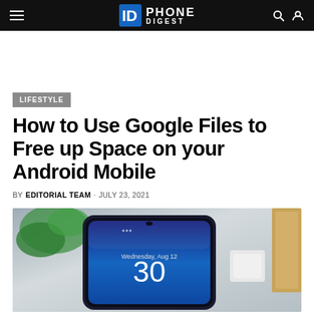Phone Digest
LIFESTYLE
How to Use Google Files to Free up Space on your Android Mobile
BY EDITORIAL TEAM · JULY 23, 2021
[Figure (photo): An Android smartphone lying face-up on a desk, showing a lock screen with date Wednesday Aug 12 and time 30, with a green plant and white earbuds visible in the background]